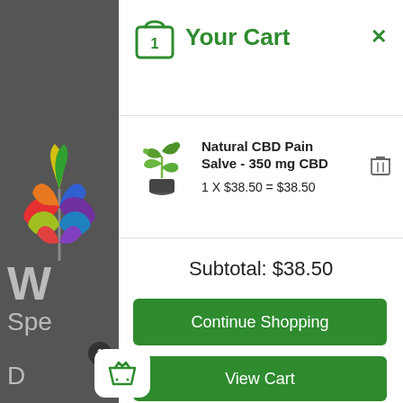[Figure (screenshot): Left panel with dark gray background showing a rainbow-colored cannabis leaf and partial text 'W', 'Spe', 'D' in light gray. A shopping basket icon with badge '1' is visible at bottom left.]
Your Cart
Natural CBD Pain Salve - 350 mg CBD
1 X $38.50 = $38.50
Subtotal: $38.50
Continue Shopping
View Cart
Checkout